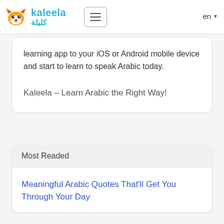kaleela كليلة | en
learning app to your iOS or Android mobile device and start to learn to speak Arabic today.
Kaleela – Learn Arabic the Right Way!
Most Readed
Meaningful Arabic Quotes That'll Get You Through Your Day